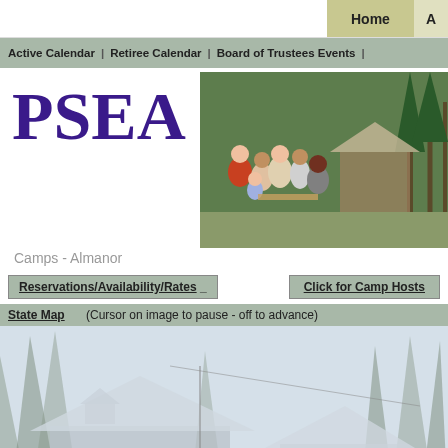Home | A...
Active Calendar | Retiree Calendar | Board of Trustees Events |
PSEA
[Figure (photo): Family group photo outdoors near camp cabins and trees]
Camps - Almanor
Reservations/Availability/Rates
Click for Camp Hosts
State Map    (Cursor on image to pause - off to advance)
[Figure (photo): Camp Almanor cabins surrounded by tall pine trees, muted/faded photograph]